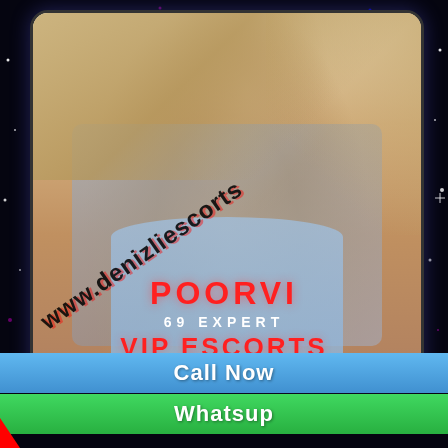[Figure (photo): Woman in blue swimsuit and denim shirt with watermark text www.denizliescorts overlaid diagonally]
POORVI
69 EXPERT
VIP ESCORTS
Call Now
Whatsup